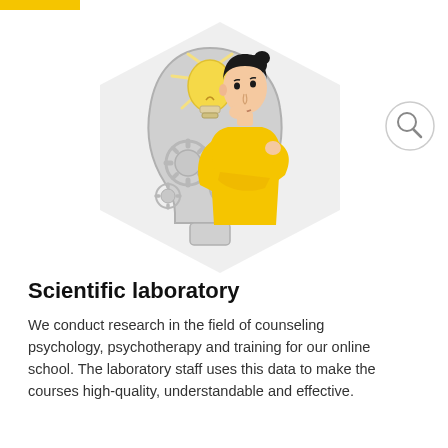[Figure (illustration): Illustration of a woman in yellow top thinking, overlaid on a human head silhouette with a glowing light bulb and gear icons inside, set against a large light grey hexagon background shape. A magnifying glass search icon appears in the upper right.]
Scientific laboratory
We conduct research in the field of counseling psychology, psychotherapy and training for our online school. The laboratory staff uses this data to make the courses high-quality, understandable and effective.